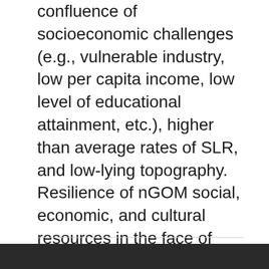confluence of socioeconomic challenges (e.g., vulnerable industry, low per capita income, low level of educational attainment, etc.), higher than average rates of SLR, and low-lying topography. Resilience of nGOM social, economic, and cultural resources in the face of SLR requires an informed and engaged constituency and leadership that understands their risks, SLR adaptation options, and the civic processes required for action.
Show More ▼